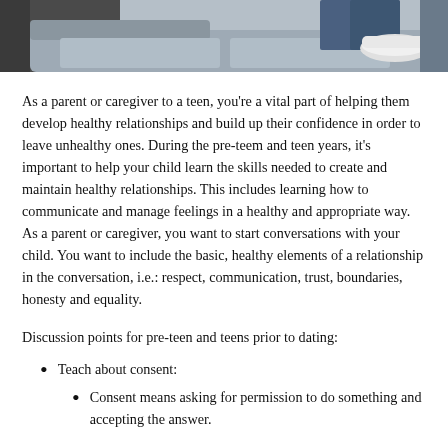[Figure (photo): Photo of a person sitting on a couch or chair, legs visible with sneakers, casual setting]
As a parent or caregiver to a teen, you're a vital part of helping them develop healthy relationships and build up their confidence in order to leave unhealthy ones. During the pre-teem and teen years, it's important to help your child learn the skills needed to create and maintain healthy relationships. This includes learning how to communicate and manage feelings in a healthy and appropriate way. As a parent or caregiver, you want to start conversations with your child. You want to include the basic, healthy elements of a relationship in the conversation, i.e.: respect, communication, trust, boundaries, honesty and equality.
Discussion points for pre-teen and teens prior to dating:
Teach about consent:
Consent means asking for permission to do something and accepting the answer.